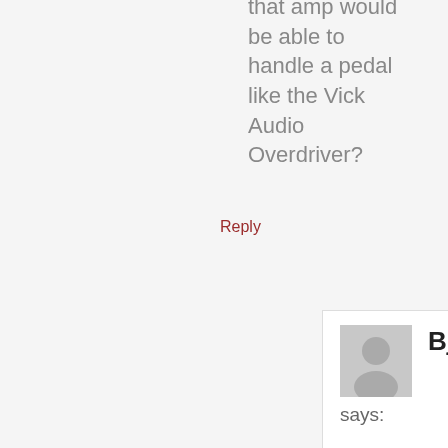that amp would be able to handle a pedal like the Vick Audio Overdriver?
Reply
Bjorn
says:
May 19, 2021 at 8:03 am
I haven't tried that but my experience is that Power